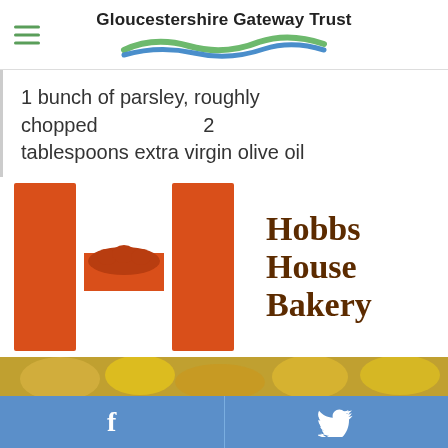Gloucestershire Gateway Trust
1 bunch of parsley, roughly chopped  2 tablespoons extra virgin olive oil
[Figure (logo): Hobbs House Bakery logo — large orange H letterform with a bread loaf silhouette in the crossbar, next to the text 'Hobbs House Bakery' in brown serif type]
[Figure (photo): Partial view of a blurred outdoor photo with yellow flowers/foliage, cropped at bottom of page]
f  (twitter bird icon)